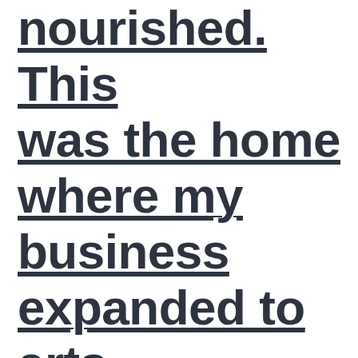nourished. This was the home where my business expanded to arts and resin- witchy kits and spellwork, healing and light